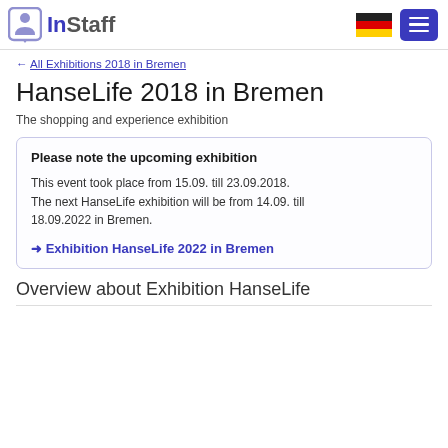InStaff
← All Exhibitions 2018 in Bremen
HanseLife 2018 in Bremen
The shopping and experience exhibition
Please note the upcoming exhibition
This event took place from 15.09. till 23.09.2018. The next HanseLife exhibition will be from 14.09. till 18.09.2022 in Bremen.
➜ Exhibition HanseLife 2022 in Bremen
Overview about Exhibition HanseLife